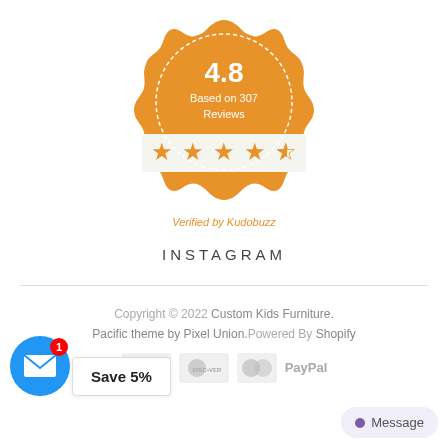[Figure (infographic): Orange scalloped badge with rating 4.8, Based on 307 Reviews, and 4.5 star rating display]
Verified by Kudobuzz
INSTAGRAM
Copyright © 2022 Custom Kids Furniture. Pacific theme by Pixel Union. Powered By Shopify
[Figure (infographic): Payment icons: American Express, Discover, MasterCard, PayPal]
Save 5%
Message